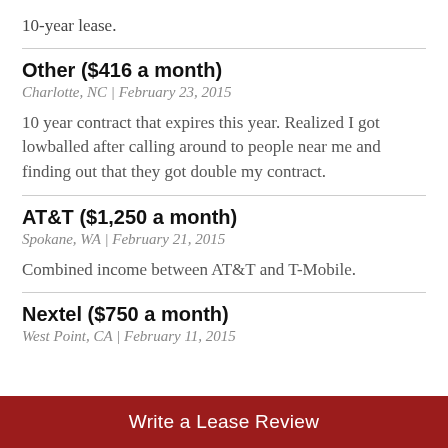10-year lease.
Other ($416 a month)
Charlotte, NC | February 23, 2015
10 year contract that expires this year. Realized I got lowballed after calling around to people near me and finding out that they got double my contract.
AT&T ($1,250 a month)
Spokane, WA | February 21, 2015
Combined income between AT&T and T-Mobile.
Nextel ($750 a month)
West Point, CA | February 11, 2015
Write a Lease Review